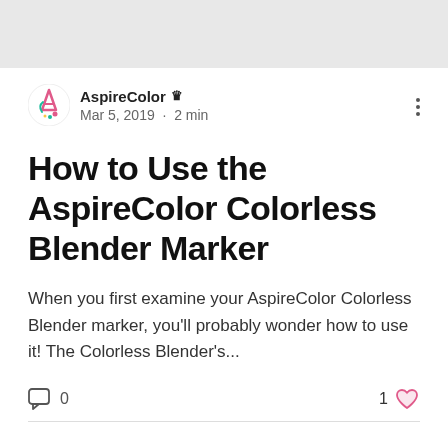[Figure (illustration): Gray banner bar at top of page]
AspireColor 👑
Mar 5, 2019 · 2 min
How to Use the AspireColor Colorless Blender Marker
When you first examine your AspireColor Colorless Blender marker, you'll probably wonder how to use it! The Colorless Blender's...
0   1 ♥